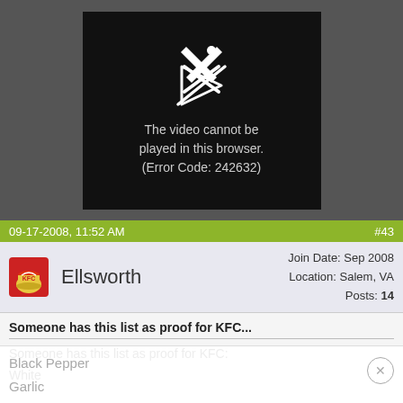[Figure (screenshot): Video player showing error: 'The video cannot be played in this browser. (Error Code: 242632)']
09-17-2008, 11:52 AM	#43
Ellsworth
Join Date: Sep 2008
Location: Salem, VA
Posts: 14
Someone has this list as proof for KFC...
Someone has this list as proof for KFC:

White
Black Pepper
Garlic